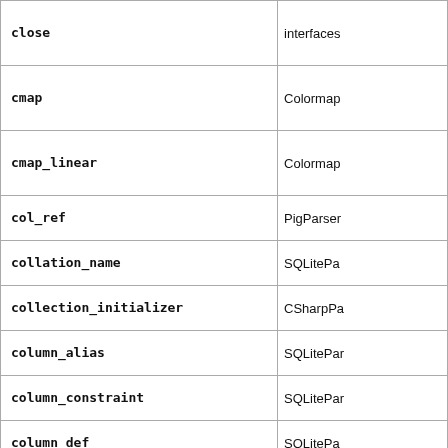|  |  |
| --- | --- |
| close | interfaces |
| cmap | Colormap |
| cmap_linear | Colormap |
| col_ref | PigParser |
| collation_name | SQLitePar |
| collection_initializer | CSharpPa |
| column_alias | SQLitePar |
| column_constraint | SQLitePar |
| column_def | SQLitePar |
| column_name | SQLitePar |
| column_name_list | SQLitePar |
| combined_join_clause | CSharpPa |
| commit | Database |
| commit_stmt | SQLitePar |
| commonToken | Python3Le |
|  | SQLi... |